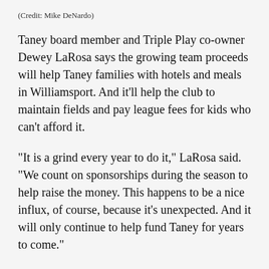(Credit: Mike DeNardo)
Taney board member and Triple Play co-owner Dewey LaRosa says the growing team proceeds will help Taney families with hotels and meals in Williamsport. And it'll help the club to maintain fields and pay league fees for kids who can't afford it.
"It is a grind every year to do it," LaRosa said. "We count on sponsorships during the season to help raise the money. This happens to be a nice influx, of course, because it's unexpected. And it will only continue to help fund Taney for years to come."
LaRosa says he hasn't seen this much interest in a team since the Phillies were in the World Series.